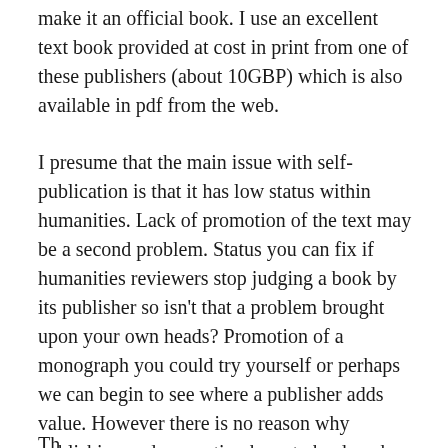make it an official book. I use an excellent text book provided at cost in print from one of these publishers (about 10GBP) which is also available in pdf from the web.
I presume that the main issue with self-publication is that it has low status within humanities. Lack of promotion of the text may be a second problem. Status you can fix if humanities reviewers stop judging a book by its publisher so isn't that a problem brought upon your own heads? Promotion of a monograph you could try yourself or perhaps we can begin to see where a publisher adds value. However there is no reason why publishing and promotion have to be done by the same company.
Th...